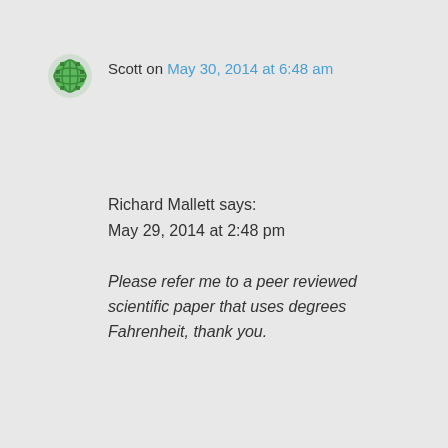[Figure (other): Green pixelated avatar icon]
Scott on May 30, 2014 at 6:48 am
Richard Mallett says:
May 29, 2014 at 2:48 pm
Please refer me to a peer reviewed scientific paper that uses degrees Fahrenheit, thank you.
Here's an AGW paper from just last year that uses Fahrenheit.
http://journals.ametsoc.org/doi/abs/10.1175/2012EI00050